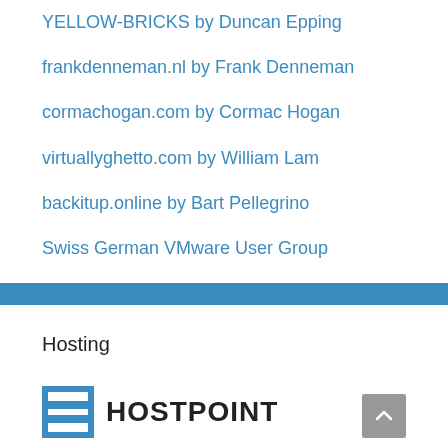YELLOW-BRICKS by Duncan Epping
frankdenneman.nl by Frank Denneman
cormachogan.com by Cormac Hogan
virtuallyghetto.com by William Lam
backitup.online by Bart Pellegrino
Swiss German VMware User Group
Hosting
[Figure (logo): Hostpoint logo with blue grid icon and HOSTPOINT text in bold black]